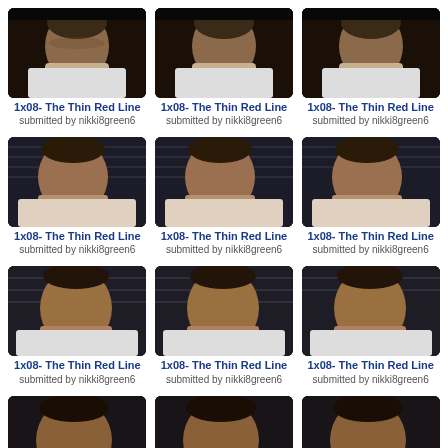[Figure (photo): Grid of TV episode screenshot thumbnails showing a man in a white tank top, and partial row of a woman with dark hair. Each thumbnail is captioned '1x08- The Thin Red Line' submitted by nikki8green6.]
1x08- The Thin Red Line
submitted by nikki8green6
1x08- The Thin Red Line
submitted by nikki8green6
1x08- The Thin Red Line
submitted by nikki8green6
1x08- The Thin Red Line
submitted by nikki8green6
1x08- The Thin Red Line
submitted by nikki8green6
1x08- The Thin Red Line
submitted by nikki8green6
1x08- The Thin Red Line
submitted by nikki8green6
1x08- The Thin Red Line
submitted by nikki8green6
1x08- The Thin Red Line
submitted by nikki8green6
1x08- The Thin Red Line
submitted by nikki8green6
1x08- The Thin Red Line
submitted by nikki8green6
1x08- The Thin Red Line
submitted by nikki8green6